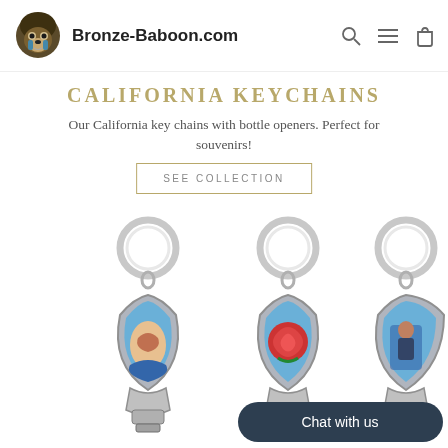Bronze-Baboon.com
CALIFORNIA KEYCHAINS
Our California key chains with bottle openers. Perfect for souvenirs!
SEE COLLECTION
[Figure (photo): Three California keychains with bottle openers displayed side by side. Each keychain has a metal ring on top and a teardrop-shaped body. Left keychain shows a Native American woman on blue background, middle shows a red rose on blue background, right shows a figure on blue background. All have nail clipper/bottle opener bottoms. A 'Chat with us' dark button is overlaid on the bottom right.]